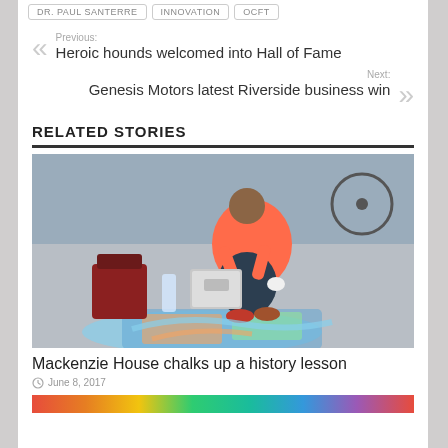DR. PAUL SANTERRE | INNOVATION | OCFT
Previous: Heroic hounds welcomed into Hall of Fame
Next: Genesis Motors latest Riverside business win
RELATED STORIES
[Figure (photo): A person in a pink/coral top crouching on the ground creating chalk art on pavement, with bags and supplies beside them]
Mackenzie House chalks up a history lesson
June 8, 2017